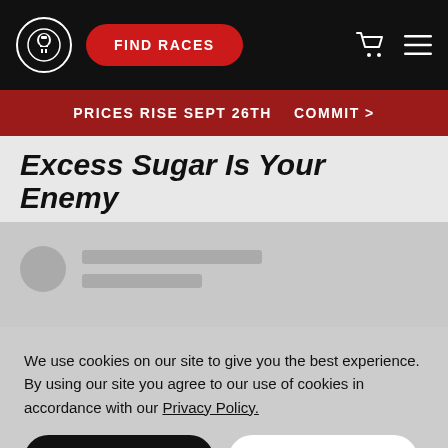FIND RACES
PRICES RISE SEPT 26TH   COMMIT >
Excess Sugar Is Your Enemy
[Figure (screenshot): Loading placeholder with grey circle avatar and two grey lines representing content loading state]
We use cookies on our site to give you the best experience. By using our site you agree to our use of cookies in accordance with our Privacy Policy.
ACCEPT    CLOSE